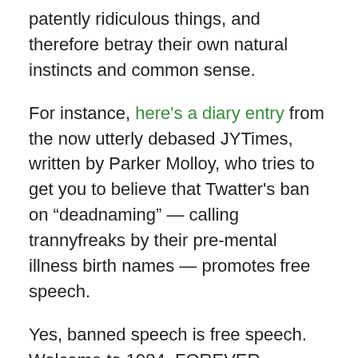patently ridiculous things, and therefore betray their own natural instincts and common sense.
For instance, here's a diary entry from the now utterly debased JYTimes, written by Parker Molloy, who tries to get you to believe that Twatter's ban on “deadnaming” — calling trannyfreaks by their pre-mental illness birth names — promotes free speech.
Yes, banned speech is free speech. Welcome to 1984, FOREVER.
Obligatory phyzz reveal: